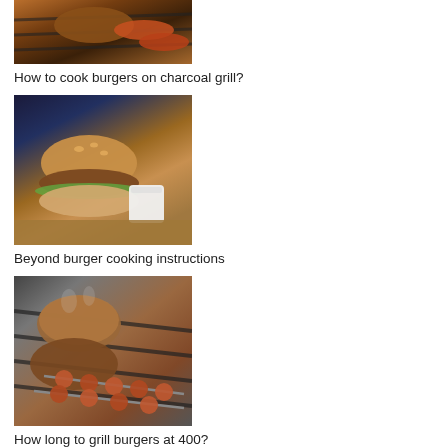[Figure (photo): Burgers and sausages cooking on a charcoal grill, top portion visible]
How to cook burgers on charcoal grill?
[Figure (photo): A beyond burger with bun and sauce on a wooden board with a dipping cup]
Beyond burger cooking instructions
[Figure (photo): Burger patties and skewered meat on a grill]
How long to grill burgers at 400?
[Figure (photo): Partially visible food image at bottom of page]